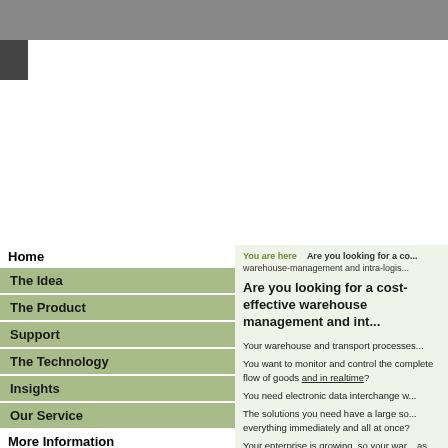[Figure (screenshot): Gray header bar at top of webpage]
Home
The Idea
The Product
Support
The Technology
Insights
Our Service
More Information
Search
Login
You are here    Are you looking for a cost-effective warehouse-management and intra-logis...
Are you looking for a cost-effective warehouse management and int...
Your warehouse and transport processes...
You want to monitor and control the complete flow of goods and in realtime?
You need electronic data interchange w...
The solutions you need have a large so... everything immediately and all at once?
Your enterprise is growing, so your war... as far as investments are concerned)?
The sooner you get started the better - money with your warehouse?